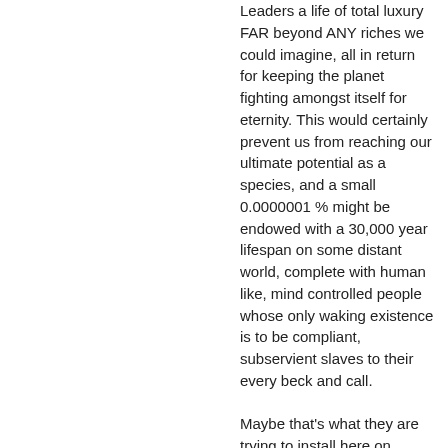Leaders a life of total luxury FAR beyond ANY riches we could imagine, all in return for keeping the planet fighting amongst itself for eternity. This would certainly prevent us from reaching our ultimate potential as a species, and a small 0.0000001 % might be endowed with a 30,000 year lifespan on some distant world, complete with human like, mind controlled people whose only waking existence is to be compliant, subservient slaves to their every beck and call.
Maybe that's what they are trying to install here on Earth…….and if so, judging by the rise of the celebrity obsessed masses, trapped